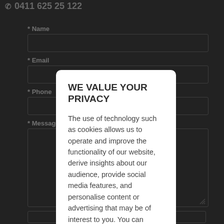0411 625 25 122
* Name
* Email
* Phone
* Message
WE VALUE YOUR PRIVACY
The use of technology such as cookies allows us to operate and improve the functionality of our website, derive insights about our audience, provide social media features, and personalise content or advertising that may be of interest to you. You can choose to accept or change this